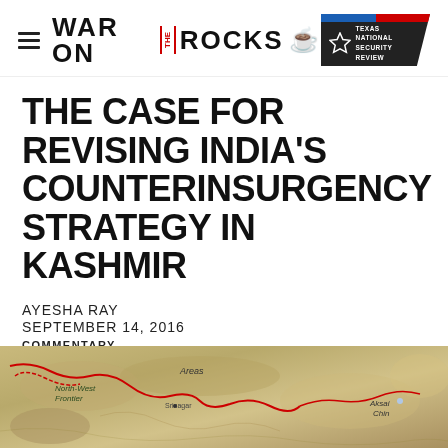WAR ON THE ROCKS — Texas National Security Review
THE CASE FOR REVISING INDIA'S COUNTERINSURGENCY STRATEGY IN KASHMIR
AYESHA RAY
SEPTEMBER 14, 2016
COMMENTARY
[Figure (map): Map of Kashmir region showing Aksai Chin, North-West Frontier areas, with red boundary lines marking disputed territories]